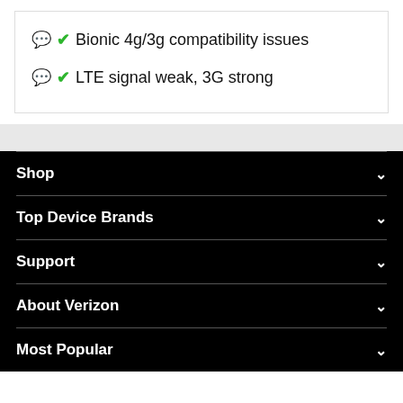Bionic 4g/3g compatibility issues
LTE signal weak, 3G strong
Shop
Top Device Brands
Support
About Verizon
Most Popular